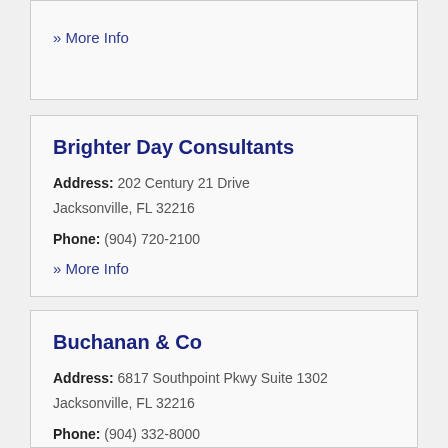» More Info
Brighter Day Consultants
Address: 202 Century 21 Drive Jacksonville, FL 32216
Phone: (904) 720-2100
» More Info
Buchanan & Co
Address: 6817 Southpoint Pkwy Suite 1302 Jacksonville, FL 32216
Phone: (904) 332-8000
» More Info